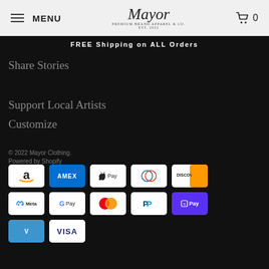MENU  Mayor Clothing  0
FREE Shipping on ALL Orders
Share Stories
Support Local Artists
Customize
© 2022 Mayor Clothing.
Powered by Shopify
[Figure (other): Payment method icons: Amazon, Amex, Apple Pay, Diners Club, Discover, Meta Pay, Google Pay, Mastercard, PayPal, Shop Pay, Venmo, Visa]